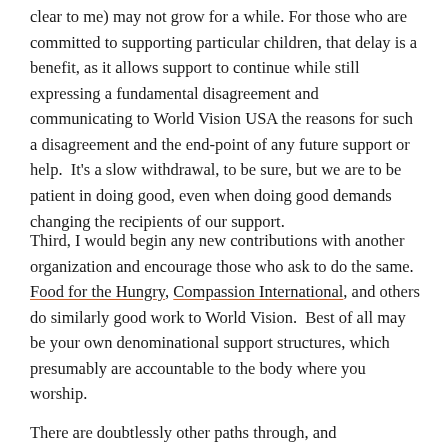clear to me) may not grow for a while. For those who are committed to supporting particular children, that delay is a benefit, as it allows support to continue while still expressing a fundamental disagreement and communicating to World Vision USA the reasons for such a disagreement and the end-point of any future support or help.  It's a slow withdrawal, to be sure, but we are to be patient in doing good, even when doing good demands changing the recipients of our support.
Third, I would begin any new contributions with another organization and encourage those who ask to do the same.  Food for the Hungry, Compassion International, and others do similarly good work to World Vision.  Best of all may be your own denominational support structures, which presumably are accountable to the body where you worship.
There are doubtlessly other paths through, and unquestionably